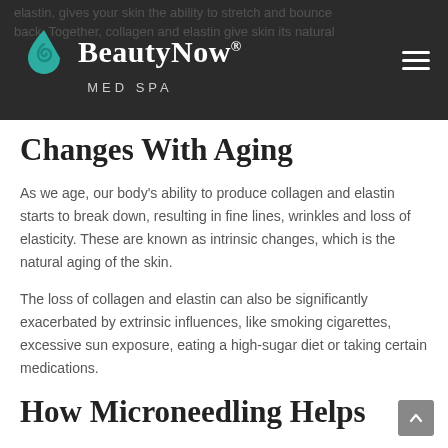BeautyNow® MED SPA
Changes With Aging
As we age, our body's ability to produce collagen and elastin starts to break down, resulting in fine lines, wrinkles and loss of elasticity. These are known as intrinsic changes, which is the natural aging of the skin.
The loss of collagen and elastin can also be significantly exacerbated by extrinsic influences, like smoking cigarettes, excessive sun exposure, eating a high-sugar diet or taking certain medications.
How Microneedling Helps